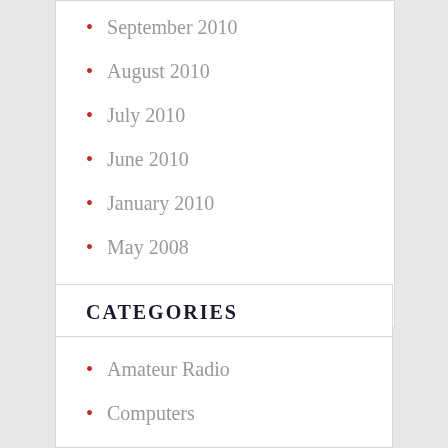September 2010
August 2010
July 2010
June 2010
January 2010
May 2008
September 2007
CATEGORIES
Amateur Radio
Computers